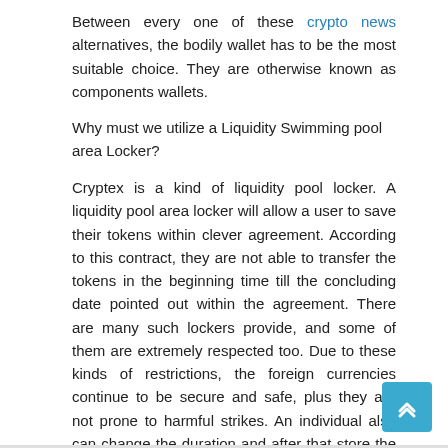Between every one of these crypto news alternatives, the bodily wallet has to be the most suitable choice. They are otherwise known as components wallets.
Why must we utilize a Liquidity Swimming pool area Locker?
Cryptex is a kind of liquidity pool locker. A liquidity pool area locker will allow a user to save their tokens within clever agreement. According to this contract, they are not able to transfer the tokens in the beginning time till the concluding date pointed out within the agreement. There are many such lockers provide, and some of them are extremely respected too. Due to these kinds of restrictions, the foreign currencies continue to be secure and safe, plus they are not prone to harmful strikes. An individual also can change the duration and after that store the LP tokens. These lockers do not take thing in the tokens, operate is to ensure they are harmless for a mentioned period of time as per the wise deal.
Finance